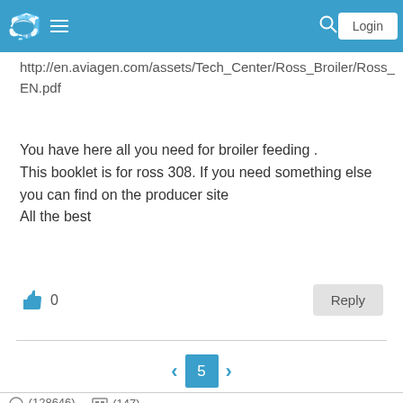Login
http://en.aviagen.com/assets/Tech_Center/Ross_Broiler/Ross_EN.pdf
You have here all you need for broiler feeding .
This booklet is for ross 308. If you need something else you can find on the producer site
All the best
0
Reply
5
(128646)
(147)